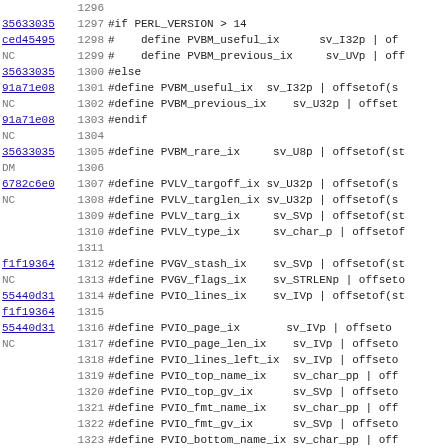[Figure (screenshot): Source code viewer showing C preprocessor #define macros for Perl SV fields, lines 1296-1327, with git blame commit hashes in the left column and line numbers in the middle column.]